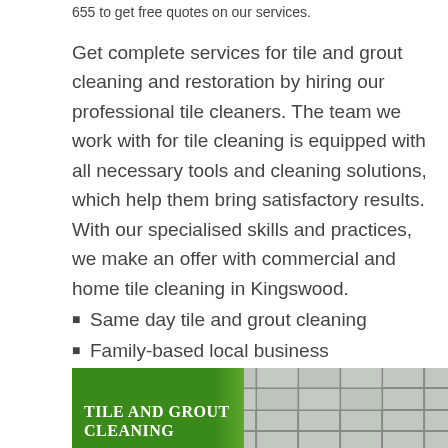655 to get free quotes on our services.
Get complete services for tile and grout cleaning and restoration by hiring our professional tile cleaners. The team we work with for tile cleaning is equipped with all necessary tools and cleaning solutions, which help them bring satisfactory results. With our specialised skills and practices, we make an offer with commercial and home tile cleaning in Kingswood.
Same day tile and grout cleaning
Family-based local business
Restored look of tiles
Commercial tile cleaning
Kingswood's no. 1 tile and grout cleaning
[Figure (photo): Green banner with white text reading 'Tile And Grout Cleaning' on the left, and a photo of clean grey tiles on the right]